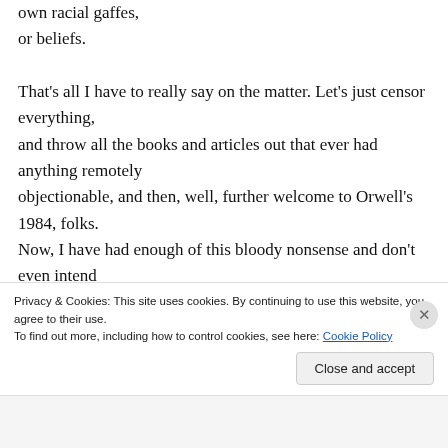ever suffered one whit even from some of his own racial gaffes, or beliefs.

That's all I have to really say on the matter. Let's just censor everything, and throw all the books and articles out that ever had anything remotely objectionable, and then, well, further welcome to Orwell's 1984, folks.

Now, I have had enough of this bloody nonsense and don't even intend
Privacy & Cookies: This site uses cookies. By continuing to use this website, you agree to their use.
To find out more, including how to control cookies, see here: Cookie Policy